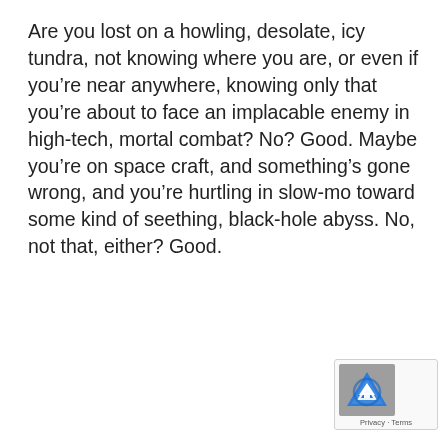Are you lost on a howling, desolate, icy tundra, not knowing where you are, or even if you're near anywhere, knowing only that you're about to face an implacable enemy in high-tech, mortal combat? No? Good. Maybe you're on space craft, and something's gone wrong, and you're hurtling in slow-mo toward some kind of seething, black-hole abyss. No, not that, either? Good.
[Figure (logo): reCAPTCHA badge with logo and Privacy · Terms links]